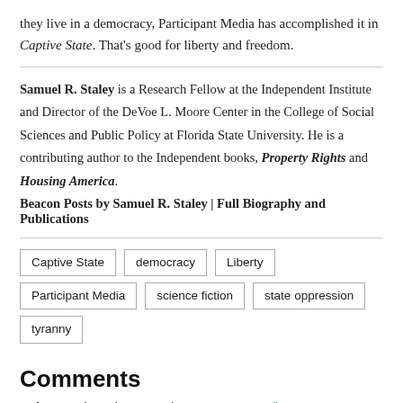they live in a democracy, Participant Media has accomplished it in Captive State. That's good for liberty and freedom.
Samuel R. Staley is a Research Fellow at the Independent Institute and Director of the DeVoe L. Moore Center in the College of Social Sciences and Public Policy at Florida State University. He is a contributing author to the Independent books, Property Rights and Housing America.
Beacon Posts by Samuel R. Staley | Full Biography and Publications
Captive State
democracy
Liberty
Participant Media
science fiction
state oppression
tyranny
Comments
Before posting, please read our Comment Policy.